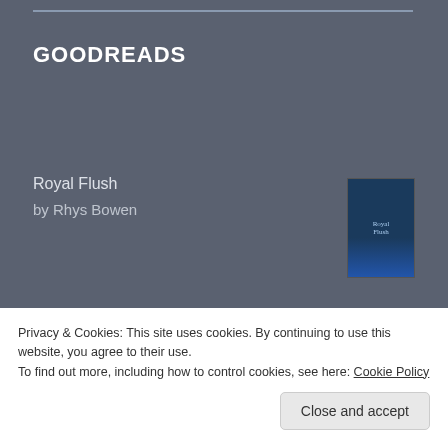GOODREADS
Royal Flush
by Rhys Bowen
Walk in Love: Episcopal Beliefs and Practices
by Scott Gunn
Radical Hospitality: Benedict’s Way of Love
by Daniel Homan
Privacy & Cookies: This site uses cookies. By continuing to use this website, you agree to their use.
To find out more, including how to control cookies, see here: Cookie Policy
Close and accept